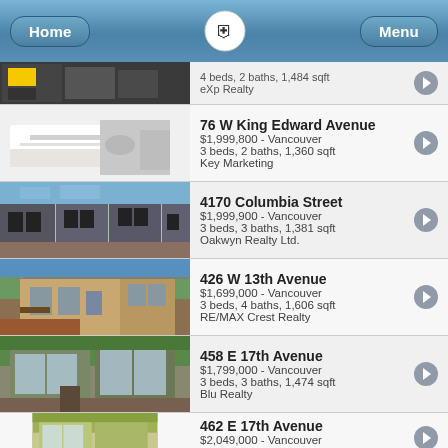Home | Menu
76 W King Edward Avenue — $1,999,800 - Vancouver — 3 beds, 2 baths, 1,360 sqft — Key Marketing
4170 Columbia Street — $1,999,900 - Vancouver — 3 beds, 3 baths, 1,381 sqft — Oakwyn Realty Ltd.
426 W 13th Avenue — $1,699,000 - Vancouver — 3 beds, 4 baths, 1,606 sqft — RE/MAX Crest Realty
458 E 17th Avenue — $1,799,000 - Vancouver — 3 beds, 3 baths, 1,474 sqft — Blu Realty
462 E 17th Avenue — $2,049,000 - Vancouver — 3 beds, 3 baths, 1,690 sqft